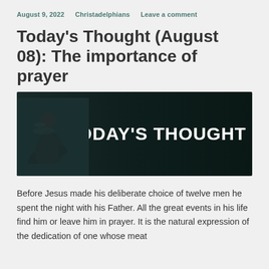August 9, 2022    Christadelphians    Leave a comment
Today's Thought (August 08): The importance of prayer
[Figure (photo): Dark-themed banner image with a silhouette of a person sitting in prayer on the left, and bold white text 'TODAY'S THOUGHT' on the right against a dark background.]
Before Jesus made his deliberate choice of twelve men he spent the night with his Father. All the great events in his life find him or leave him in prayer. It is the natural expression of the dedication of one whose meat